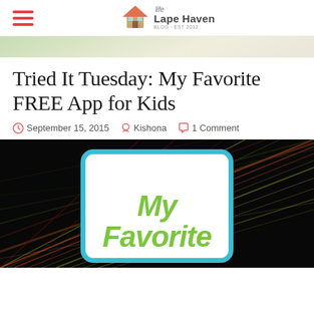Life in Lape Haven
Tried It Tuesday: My Favorite FREE App for Kids
September 15, 2015   Kishona   1 Comment
[Figure (photo): Featured blog post image with dark streaky light background and a white rounded-rectangle card with blue border containing green handwritten-style text 'My Favorite']